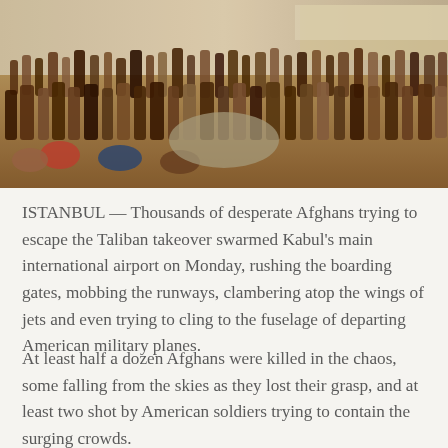[Figure (photo): Large crowd of Afghan people, mostly men and women in traditional clothing, densely packed at Kabul airport attempting to flee. Taken outdoors in daylight.]
ISTANBUL — Thousands of desperate Afghans trying to escape the Taliban takeover swarmed Kabul's main international airport on Monday, rushing the boarding gates, mobbing the runways, clambering atop the wings of jets and even trying to cling to the fuselage of departing American military planes.
At least half a dozen Afghans were killed in the chaos, some falling from the skies as they lost their grasp, and at least two shot by American soldiers trying to contain the surging crowds.